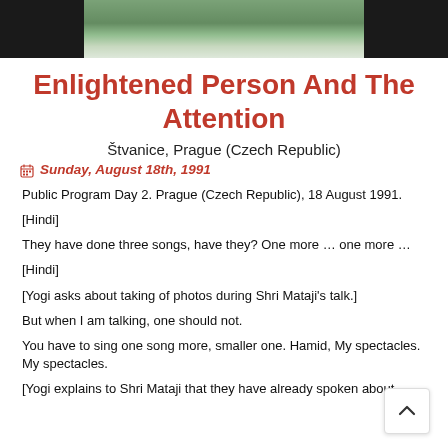[Figure (photo): Cropped photograph showing a person in white/light colored clothing against a green background, displayed as a dark-bordered strip at the top of the page.]
Enlightened Person And The Attention
Štvanice, Prague (Czech Republic)
Sunday, August 18th, 1991
Public Program Day 2. Prague (Czech Republic), 18 August 1991.
[Hindi]
They have done three songs, have they? One more … one more …
[Hindi]
[Yogi asks about taking of photos during Shri Mataji's talk.]
But when I am talking, one should not.
You have to sing one song more, smaller one. Hamid, My spectacles. My spectacles.
[Yogi explains to Shri Mataji that they have already spoken about